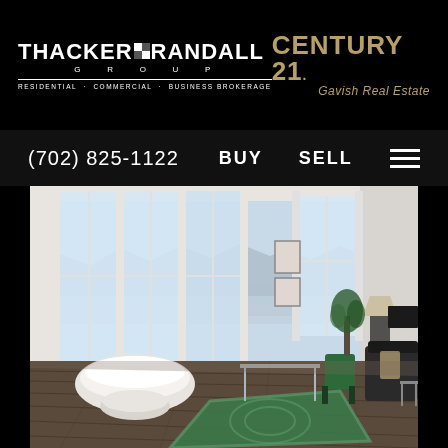[Figure (logo): Thacker & Randall Group logo - white text on black background with checkerboard divider icon. Tagline: RESIDENTIAL · COMMERCIAL · BUSINESS BROKERAGE]
[Figure (logo): Century 21 Gavish Real Estate logo - gold/tan text on black background]
(702) 825-1122   BUY   SELL   ≡
[Figure (photo): Modern luxury high-rise living room interior with floor-to-ceiling windows, panoramic city and mountain views, white curved sofa, green patterned area rug, glass dining table, dark hardwood floors]